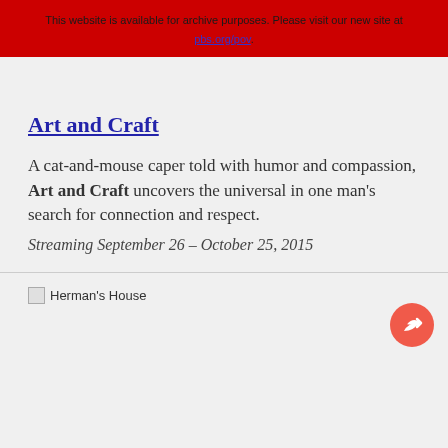This website is available for archive purposes. Please visit our new site at pbs.org/pov.
Art and Craft
A cat-and-mouse caper told with humor and compassion, Art and Craft uncovers the universal in one man’s search for connection and respect.
Streaming September 26 – October 25, 2015
[Figure (photo): Broken image placeholder labeled Herman's House]
[Figure (illustration): Orange circular share/reply button icon in bottom right corner]